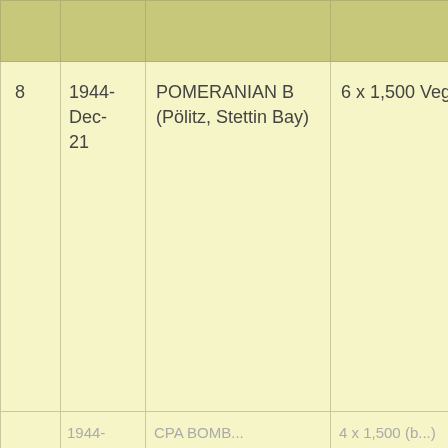|  |  |  |  |  |
| --- | --- | --- | --- | --- |
| 8 | 1944-Dec-21 | POMERANIAN B (Pölitz, Stettin Bay) | 6 x 1,500 Veg. | p... v... h... 1... |
|  | 1944- | CPA BOMB... | 4 x 1,500 (b...) | ... |